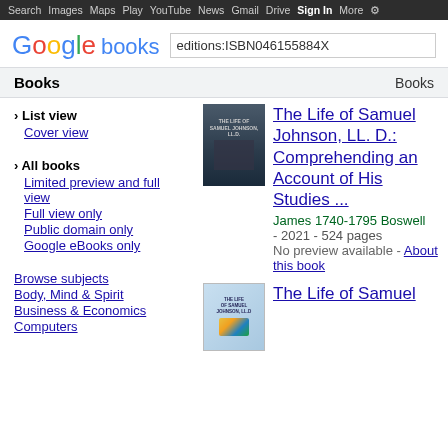Search Images Maps Play YouTube News Gmail Drive More Sign in Settings
Google books
editions:ISBN046155884X
Books    Books
› List view
Cover view
› All books
Limited preview and full view
Full view only
Public domain only
Google eBooks only
Browse subjects
Body, Mind & Spirit
Business & Economics
Computers
[Figure (photo): Book cover of The Life of Samuel Johnson, LL.D. - dark bookshelf background]
The Life of Samuel Johnson, LL. D.: Comprehending an Account of His Studies ...
James 1740-1795 Boswell - 2021 - 524 pages
No preview available - About this book
[Figure (photo): Book cover of The Life of Samuel Johnson, LL.D - light blue cover]
The Life of Samuel